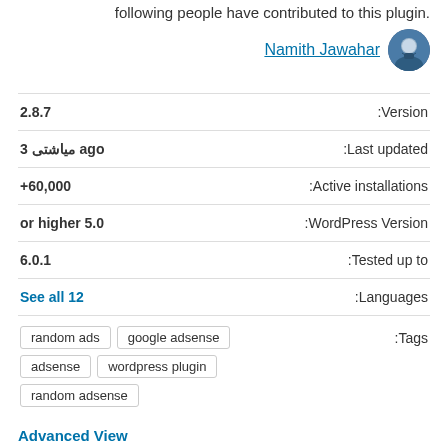.following people have contributed to this plugin
Namith Jawahar
| Value | Label |
| --- | --- |
| 2.8.7 | Version: |
| 3 مياشتى ago | Last updated: |
| +60,000 | Active installations: |
| or higher 5.0 | WordPress Version: |
| 6.0.1 | Tested up to: |
| See all 12 | Languages: |
| random ads   google adsense   adsense   wordpress plugin   random adsense | Tags: |
Advanced View